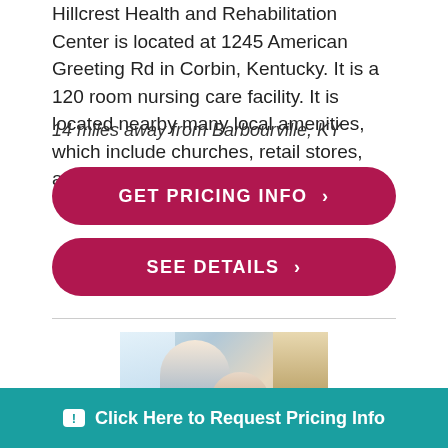Hillcrest Health and Rehabilitation Center is located at 1245 American Greeting Rd in Corbin, Kentucky. It is a 120 room nursing care facility. It is located nearby many local amenities, which include churches, retail stores, and ...
14 miles away from Barbourville, KY
GET PRICING INFO ›
SEE DETAILS ›
[Figure (photo): A caregiver assisting an elderly patient, with a bookshelf in the background]
Click Here to Request Pricing Info